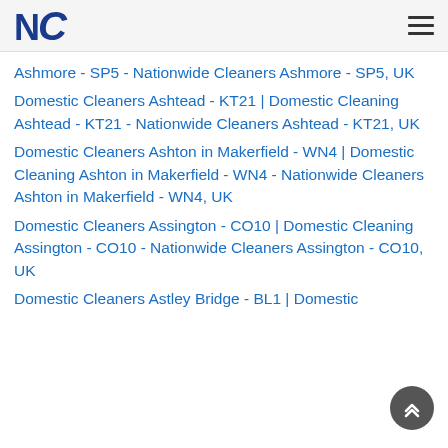NC
Ashmore - SP5 - Nationwide Cleaners Ashmore - SP5, UK
Domestic Cleaners Ashtead - KT21 | Domestic Cleaning Ashtead - KT21 - Nationwide Cleaners Ashtead - KT21, UK
Domestic Cleaners Ashton in Makerfield - WN4 | Domestic Cleaning Ashton in Makerfield - WN4 - Nationwide Cleaners Ashton in Makerfield - WN4, UK
Domestic Cleaners Assington - CO10 | Domestic Cleaning Assington - CO10 - Nationwide Cleaners Assington - CO10, UK
Domestic Cleaners Astley Bridge - BL1 | Domestic